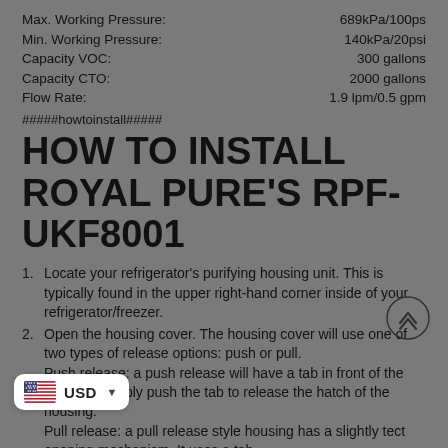Max. Working Pressure: 689kPa/100ps
Min. Working Pressure: 140kPa/20psi
Capacity VOC: 300 gallons
Capacity CTO: 2000 gallons
Flow Rate: 1.9 lpm/0.5 gpm
#####howtoinstall#####
HOW TO INSTALL ROYAL PURE'S RPF-UKF8001
Locate your refrigerator's purifying housing unit. This is typically found in the upper right-hand corner inside of your refrigerator/freezer.
Open the housing cover. The housing cover will use one of two types of release options: push or pull. Push release: a push release will have a tab in front of the housing. Simply push the tab to release the hatch of the housing. Pull release: a pull release style housing has a slightly tect opening mechanism. It uses a tab de of a recess on the front underside of the housing unit. Find the recessed tab with your